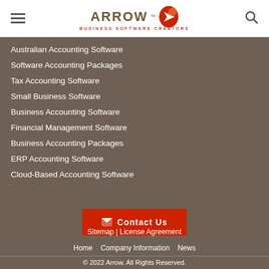Arrow Business Software Creators
Australian Accounting Software
Software Accounting Packages
Tax Accounting Software
Small Business Software
Business Accounting Software
Financial Management Software
Business Accounting Packages
ERP Accounting Software
Cloud-Based Accounting Software
Contact Us
Sitemap | License Agreement
Home  Company Information  News
© 2022 Arrow. All Rights Reserved.